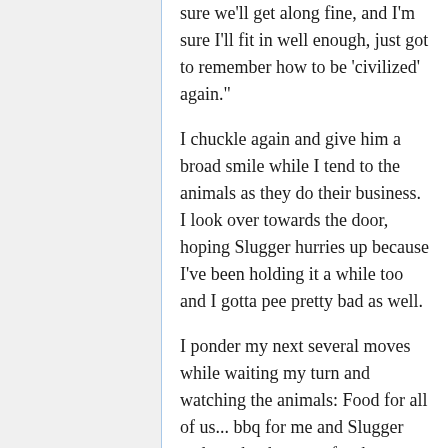sure we'll get along fine, and I'm sure I'll fit in well enough, just got to remember how to be 'civilized' again."
I chuckle again and give him a broad smile while I tend to the animals as they do their business. I look over towards the door, hoping Slugger hurries up because I've been holding it a while too and I gotta pee pretty bad as well.
I ponder my next several moves while waiting my turn and watching the animals: Food for all of us... bbq for me and Slugger and maybe the same for the animals. But I really should secure the trike, trailer and excess gear... so, Woody's first, then bbq. After that, lodgings. I needed to figure out what happened; how Slugger and I ended up in another world... and I needed to talk to Slugger about what has happened, once